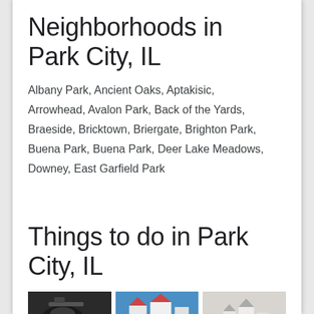Neighborhoods in Park City, IL
Albany Park, Ancient Oaks, Aptakisic, Arrowhead, Avalon Park, Back of the Yards, Braeside, Bricktown, Briergate, Brighton Park, Buena Park, Buena Park, Deer Lake Meadows, Downey, East Garfield Park
Things to do in Park City, IL
[Figure (photo): Three thumbnail photos of attractions in Park City, IL]